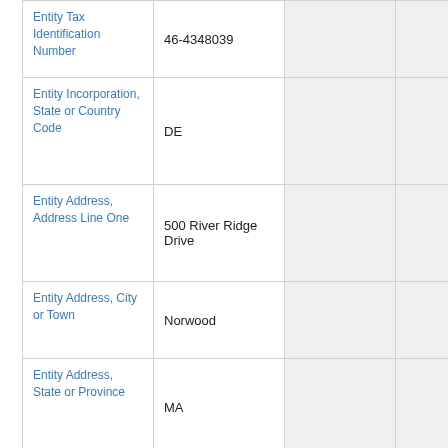| Entity Tax Identification Number | 46-4348039 |  |  |
| Entity Incorporation, State or Country Code | DE |  |  |
| Entity Address, Address Line One | 500 River Ridge Drive |  |  |
| Entity Address, City or Town | Norwood |  |  |
| Entity Address, State or Province | MA |  |  |
| Entity Address, Postal Zip Code | 02062 |  |  |
| City Area Code | (617) |  |  |